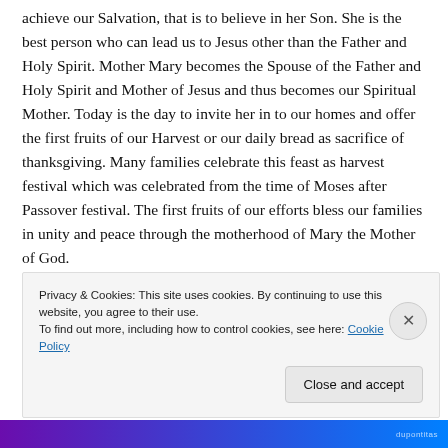achieve our Salvation, that is to believe in her Son. She is the best person who can lead us to Jesus other than the Father and Holy Spirit. Mother Mary becomes the Spouse of the Father and Holy Spirit and Mother of Jesus and thus becomes our Spiritual Mother. Today is the day to invite her in to our homes and offer the first fruits of our Harvest or our daily bread as sacrifice of thanksgiving. Many families celebrate this feast as harvest festival which was celebrated from the time of Moses after Passover festival. The first fruits of our efforts bless our families in unity and peace through the motherhood of Mary the Mother of God.
The birth of Mary is the birth of Salvation Plan upon this
Privacy & Cookies: This site uses cookies. By continuing to use this website, you agree to their use.
To find out more, including how to control cookies, see here: Cookie Policy
Close and accept